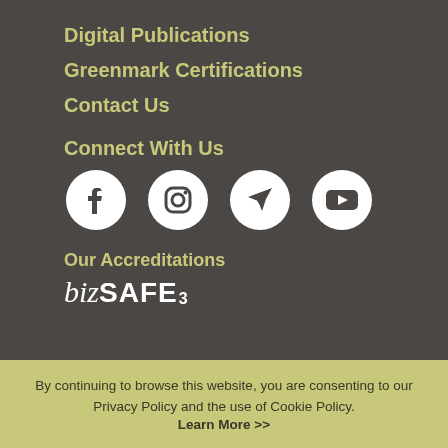Digital Publications
Greenmark Certifications
Contact Us
Connect With Us
[Figure (illustration): Four social media icons in white circles: Facebook, Instagram, Telegram, YouTube]
Our Accreditations
[Figure (logo): bizSAFE3 logo in white text]
By continuing to browse this website, you are consenting to our Privacy Policy and the use of Cookie Policy. Learn More >>